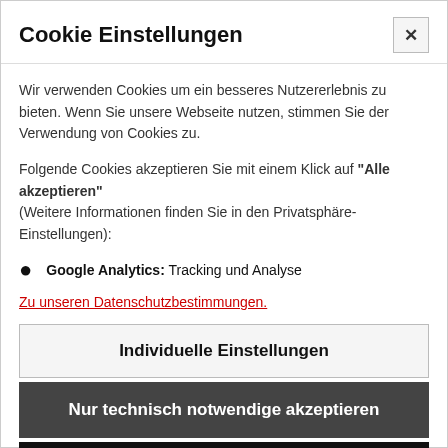Cookie Einstellungen
Wir verwenden Cookies um ein besseres Nutzererlebnis zu bieten. Wenn Sie unsere Webseite nutzen, stimmen Sie der Verwendung von Cookies zu.
Folgende Cookies akzeptieren Sie mit einem Klick auf "Alle akzeptieren" (Weitere Informationen finden Sie in den Privatsphäre-Einstellungen):
Google Analytics: Tracking und Analyse
Zu unseren Datenschutzbestimmungen.
Individuelle Einstellungen
Nur technisch notwendige akzeptieren
Alle akzeptieren